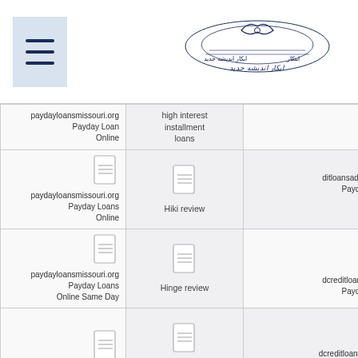Menu icon | Logo: Abkar Andishe Jadid
| Col1 | Col2 | Col3 |
| --- | --- | --- |
| paydayloansmissouri.org Payday Loan Online | high interest installment loans | [icon] ditloansadvisor.com Payday Loans Online |
| [icon] paydayloansmissouri.org Payday Loans Online | [icon] Hiki review | [icon] |
| [icon] paydayloansmissouri.org Payday Loans Online Same Day | [icon] Hinge review | [icon] dcreditloanslist.com Payday Loans |
| [icon] | [icon] Hinge username | [icon] dcreditloanzone.com Payday Loans Online |
| [icon] paydayloansohio.org Online Payday | [icon] Hispanic Dating | [icon] |